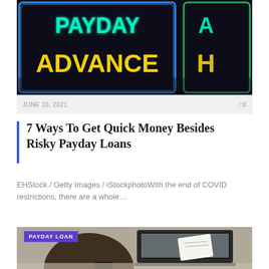[Figure (photo): Neon sign reading PAYDAY ADVANCE with blue and green neon lettering against a dark background]
JUNE 10, 2021   0
7 Ways To Get Quick Money Besides Risky Payday Loans
EHStock / Getty Images / iStockphotoWith the end of COVID restrictions, there are a whole…
[Figure (photo): Person sitting at a desk with a laptop and holding a check, with a smartphone on the desk. PAYDAY LOAN label overlay in upper left.]